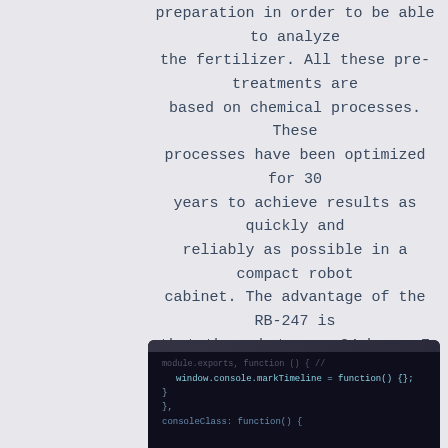preparation in order to be able to analyze the fertilizer. All these pre-treatments are based on chemical processes. These processes have been optimized for 30 years to achieve results as quickly and reliably as possible in a compact robot cabinet. The advantage of the RB-247 is that the robot runs 24 hours 7 days a week and can therefore perform continuous checks. The robot is equipped with high-quality analysis equipment for quick and reliable results.
[Figure (screenshot): Screenshot of code editor showing JavaScript code with dark background, including lines with window.console.markTimeline and consoleClass function definitions]